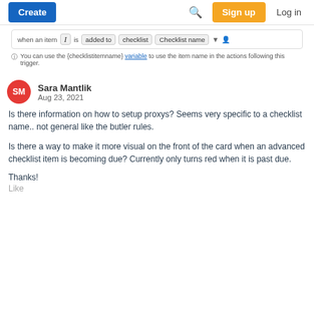Create | Search | Sign up | Log in
[Figure (screenshot): Trigger configuration bar showing: when an item [T] is added to checklist [Checklist name] [filter icon] [person icon]. Below: info note saying 'You can use the {checklistitemname} variable to use the item name in the actions following this trigger.']
Sara Mantlik
Aug 23, 2021
Is there information on how to setup proxys? Seems very specific to a checklist name.. not general like the butler rules.
Is there a way to make it more visual on the front of the card when an advanced checklist item is becoming due? Currently only turns red when it is past due.
Thanks!
Like